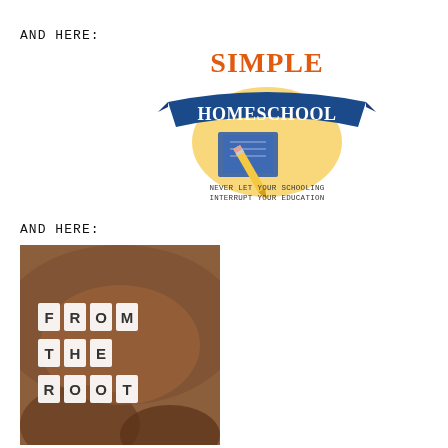AND HERE:
[Figure (logo): Simple Homeschool logo with orange text 'SIMPLE' above a blue banner reading 'HOMESCHOOL', with a pencil and notebook illustration below, and tagline 'NEVER LET YOUR SCHOOLING INTERRUPT YOUR EDUCATION']
AND HERE:
[Figure (photo): From The Root blog logo - white block letter text reading 'FROM THE ROOT' overlaid on a close-up photo of dark skin/hands]